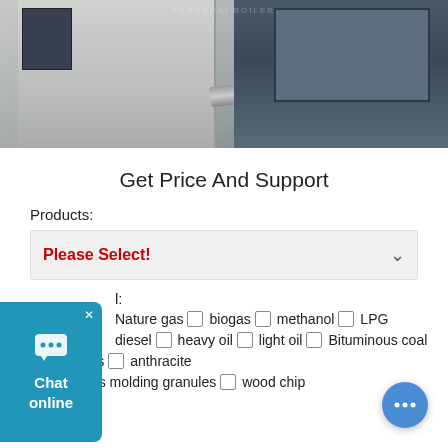[Figure (photo): Industrial boiler or steam generator equipment photographed in an indoor facility. Shows grey/silver machine body with control panel, pipes, and blue framing structures.]
Get Price And Support
Products:
Please Select!
Fuel:
Nature gas  biogas  methanol  LPG
diesel  heavy oil  light oil  Bituminous coal
biomass  anthracite
Biomass molding granules  wood chip